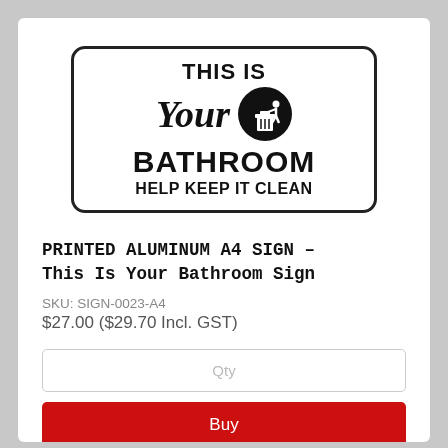[Figure (illustration): A rectangular sign with rounded corners and black border on white background. Text reads: THIS IS (top, bold), 'Your' in large italic cursive script, alongside a black circle icon of a person putting trash in a bin, then BATHROOM in large bold text, then HELP KEEP IT CLEAN in bold text.]
PRINTED ALUMINUM A4 SIGN - This Is Your Bathroom Sign
SKU: SIGN-0023-A4
$27.00 ($29.70 Incl. GST)
Qty
Buy